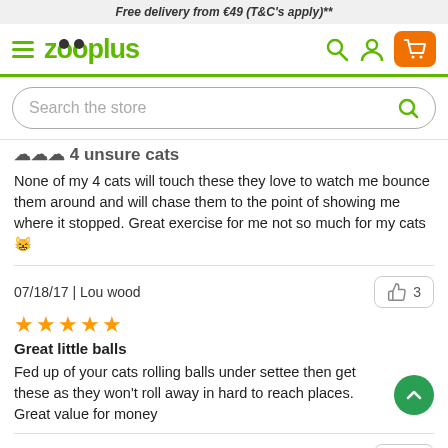Free delivery from €49 (T&C's apply)**
[Figure (logo): Zooplus logo with navigation icons (hamburger menu, search, user, cart)]
[Figure (screenshot): Search bar with placeholder text 'Search the store']
4 unsure cats
None of my 4 cats will touch these they love to watch me bounce them around and will chase them to the point of showing me where it stopped. Great exercise for me not so much for my cats 😸
07/18/17 | Lou wood
[Figure (infographic): 5 orange stars rating]
Great little balls
Fed up of your cats rolling balls under settee then get these as they won't roll away in hard to reach places. Great value for money
04/01/16 | Dympna